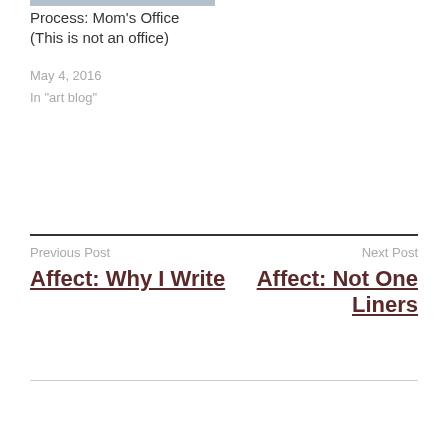[Figure (photo): Thumbnail image at top]
Process: Mom's Office (This is not an office)
May 4, 2016
In "art blog"
Previous Post
Affect: Why I Write
Next Post
Affect: Not One Liners